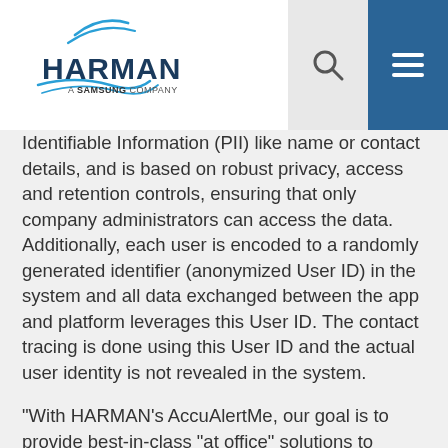HARMAN A Samsung Company
Identifiable Information (PII) like name or contact details, and is based on robust privacy, access and retention controls, ensuring that only company administrators can access the data. Additionally, each user is encoded to a randomly generated identifier (anonymized User ID) in the system and all data exchanged between the app and platform leverages this User ID. The contact tracing is done using this User ID and the actual user identity is not revealed in the system.
“With HARMAN’s AccuAlertMe, our goal is to provide best-in-class “at office” solutions to companies planning to bring back their workforce to offices,